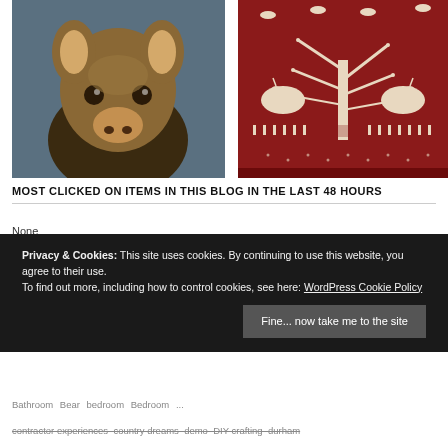[Figure (photo): Close-up photograph of a deer head mount (taxidermy) with large ears and dark eyes against a blue-gray background]
[Figure (illustration): Red background traditional Indian Warli or folk art painting showing peacocks, a tree with branches, and decorative patterns in white]
MOST CLICKED ON ITEMS IN THIS BLOG IN THE LAST 48 HOURS
None
Privacy & Cookies: This site uses cookies. By continuing to use this website, you agree to their use.
To find out more, including how to control cookies, see here: WordPress Cookie Policy
Fine... now take me to the site
Bathroom Bear bedroom Bedroom ...
contractor experiences country dreams demo DIY crafting durham